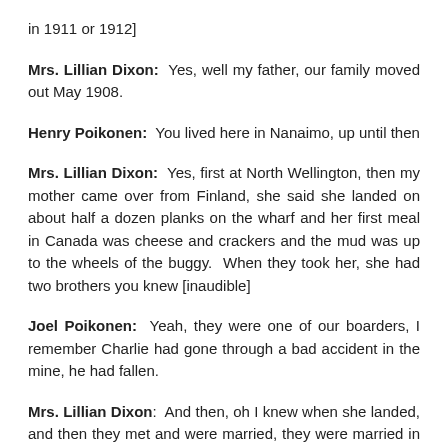in 1911 or 1912]
Mrs. Lillian Dixon: Yes, well my father, our family moved out May 1908.
Henry Poikonen: You lived here in Nanaimo, up until then
Mrs. Lillian Dixon: Yes, first at North Wellington, then my mother came over from Finland, she said she landed on about half a dozen planks on the wharf and her first meal in Canada was cheese and crackers and the mud was up to the wheels of the buggy. When they took her, she had two brothers you knew [inaudible]
Joel Poikonen: Yeah, they were one of our boarders, I remember Charlie had gone through a bad accident in the mine, he had fallen.
Mrs. Lillian Dixon: And then, oh I knew when she landed, and then they met and were married, they were married in February I think, Canon Good was the minister.